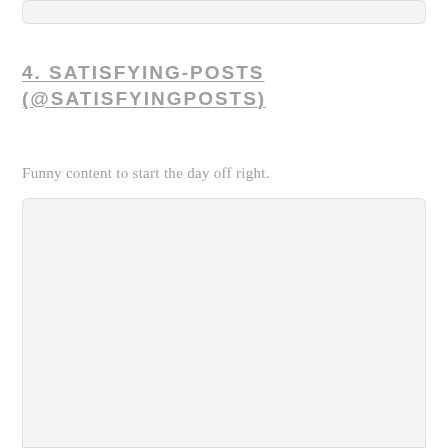4. SATISFYING-POSTS (@SATISFYINGPOSTS)
Funny content to start the day off right.
[Figure (other): Empty light gray card/image placeholder box]